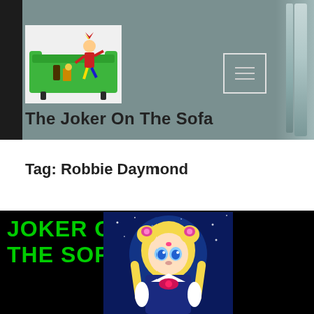[Figure (logo): The Joker On The Sofa website logo: a green couch/sofa with a jester character sitting on it, with drinks and snacks, on a gray-teal header background]
The Joker On The Sofa
Tag: Robbie Daymond
[Figure (illustration): Website thumbnail card showing 'JOKER ON THE SOFA' in green text on black background on the left, and an anime-style illustration of Sailor Moon character on a starry blue background on the right]